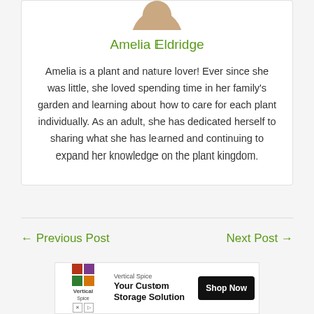[Figure (photo): Partial circular profile photo of Amelia Eldridge at the top of the card]
Amelia Eldridge
Amelia is a plant and nature lover! Ever since she was little, she loved spending time in her family's garden and learning about how to care for each plant individually. As an adult, she has dedicated herself to sharing what she has learned and continuing to expand her knowledge on the plant kingdom.
← Previous Post
Next Post →
[Figure (infographic): Advertisement banner for Vertical Spice: Your Custom Storage Solution with Shop Now button]